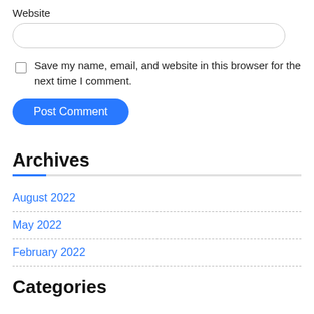Website
Save my name, email, and website in this browser for the next time I comment.
Post Comment
Archives
August 2022
May 2022
February 2022
Categories